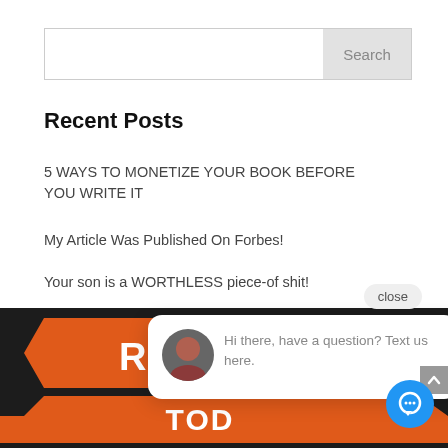[Figure (screenshot): Search bar input field with Search button on the right]
Recent Posts
5 WAYS TO MONETIZE YOUR BOOK BEFORE YOU WRITE IT
My Article Was Published On Forbes!
Your son is a WORTHLESS piece-of shit!
YOU DIED TODAY
How to Write a
[Figure (screenshot): Chat popup with avatar photo and text: Hi there, have a question? Text us here. Close button visible.]
[Figure (screenshot): Register Today banner with orange ribbon text on dark/grayscale background]
[Figure (screenshot): Blue circular chat widget button in bottom right corner]
[Figure (screenshot): Scroll up arrow button on right side]